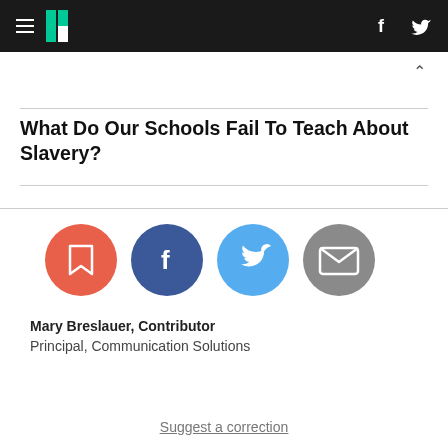HuffPost navigation with hamburger menu, logo, Facebook and Twitter icons
What Do Our Schools Fail To Teach About Slavery?
[Figure (infographic): Row of four social share/action buttons: bookmark (red), Facebook (dark blue), Twitter (light blue), email (gray)]
Mary Breslauer, Contributor
Principal, Communication Solutions
Suggest a correction